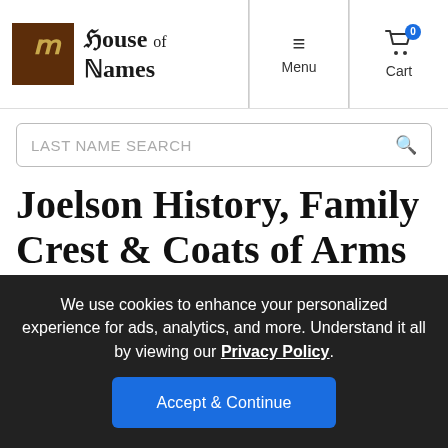House of Names — Menu | Cart
LAST NAME SEARCH
Joelson History, Family Crest & Coats of Arms
Origins Available: England
We use cookies to enhance your personalized experience for ads, analytics, and more. Understand it all by viewing our Privacy Policy. Accept & Continue